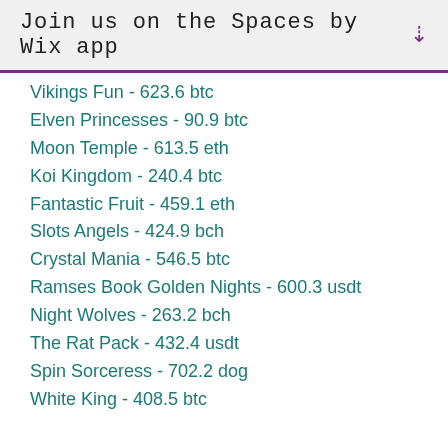Join us on the Spaces by Wix app
Vikings Fun - 623.6 btc
Elven Princesses - 90.9 btc
Moon Temple - 613.5 eth
Koi Kingdom - 240.4 btc
Fantastic Fruit - 459.1 eth
Slots Angels - 424.9 bch
Crystal Mania - 546.5 btc
Ramses Book Golden Nights - 600.3 usdt
Night Wolves - 263.2 bch
The Rat Pack - 432.4 usdt
Spin Sorceress - 702.2 dog
White King - 408.5 btc
Play Bitcoin slots:
Syndicate Casino The Great Wall Treasure
OneHash Booming Bananas
King Billy Casino Glam or Sham